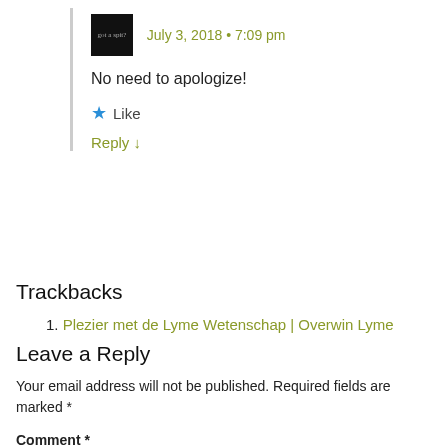July 3, 2018 • 7:09 pm
No need to apologize!
Like
Reply ↓
Trackbacks
1. Plezier met de Lyme Wetenschap | Overwin Lyme
Leave a Reply
Your email address will not be published. Required fields are marked *
Comment *